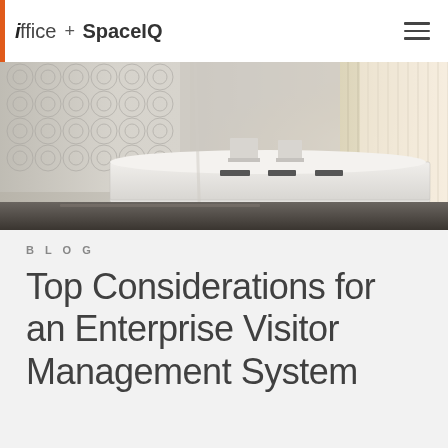ioffice + SpaceIQ
[Figure (photo): Modern office reception area with curved white desk, decorative circular-patterned wall panels, and bright windows with vertical blinds in the background]
BLOG
Top Considerations for an Enterprise Visitor Management System